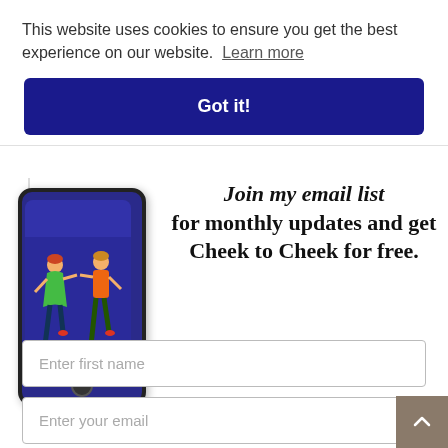This website uses cookies to ensure you get the best experience on our website. Learn more
Got it!
[Figure (illustration): A smartphone/e-reader showing a book cover with two dancing figures (one in green dress, one in orange) on a dark blue background, with text 'Renee Conoulty' at the bottom]
Join my email list for monthly updates and get Cheek to Cheek for free.
Enter first name
Enter your email
Yes Please!